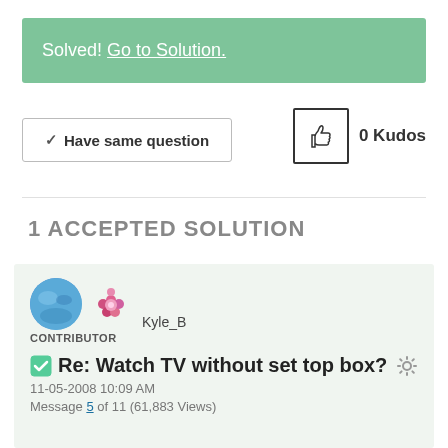Solved! Go to Solution.
✓Have same question
0 Kudos
1 ACCEPTED SOLUTION
Kyle_B
CONTRIBUTOR
Re: Watch TV without set top box?
11-05-2008 10:09 AM
Message 5 of 11 (61,883 Views)